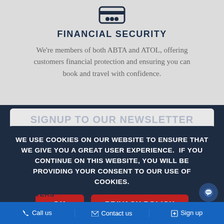[Figure (illustration): Financial security icon showing card/payment symbol]
FINANCIAL SECURITY
We're members of both ABTA and ATOL, offering customers financial protection and ensuring you can book and travel with confidence.
SIGNUP TO OUR NEWSLETTER
WE USE COOKIES ON OUR WEBSITE TO ENSURE THAT WE GIVE YOU A GREAT USER EXPERIENCE.  IF YOU CONTINUE ON THIS WEBSITE, YOU WILL BE PROVIDING YOUR CONSENT TO OUR USE OF COOKIES.
OK
PRIVACY POLICY
GULLIVERS
Call us   Contact us   Sign up